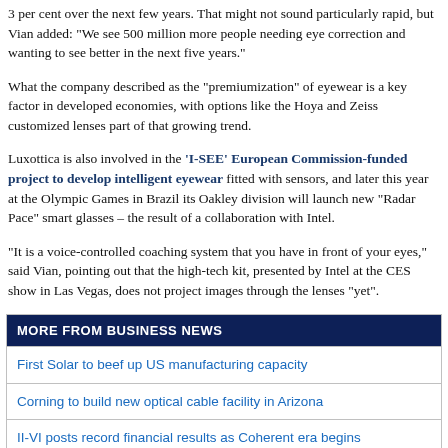3 per cent over the next few years. That might not sound particularly rapid, but Vian added: “We see 500 million more people needing eye correction and wanting to see better in the next five years.”
What the company described as the “premiumization” of eyewear is a key factor in developed economies, with options like the Hoya and Zeiss customized lenses part of that growing trend.
Luxottica is also involved in the ‘I-SEE’ European Commission-funded project to develop intelligent eyewear fitted with sensors, and later this year at the Olympic Games in Brazil its Oakley division will launch new “Radar Pace” smart glasses – the result of a collaboration with Intel.
“It is a voice-controlled coaching system that you have in front of your eyes,” said Vian, pointing out that the high-tech kit, presented by Intel at the CES show in Las Vegas, does not project images through the lenses “yet”.
MORE FROM BUSINESS NEWS
First Solar to beef up US manufacturing capacity
Corning to build new optical cable facility in Arizona
II-VI posts record financial results as Coherent era begins
Lumentum looks to innovate as supply constraints start to ease